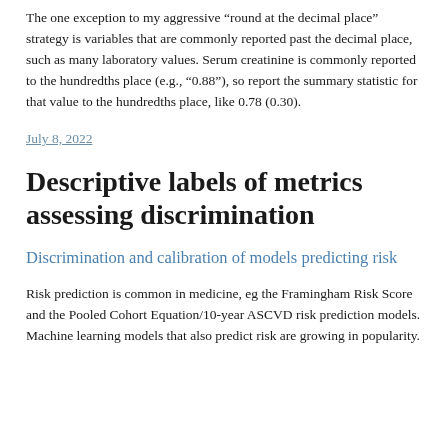The one exception to my aggressive “round at the decimal place” strategy is variables that are commonly reported past the decimal place, such as many laboratory values. Serum creatinine is commonly reported to the hundredths place (e.g., “0.88”), so report the summary statistic for that value to the hundredths place, like 0.78 (0.30).
July 8, 2022
Descriptive labels of metrics assessing discrimination
Discrimination and calibration of models predicting risk
Risk prediction is common in medicine, eg the Framingham Risk Score and the Pooled Cohort Equation/10-year ASCVD risk prediction models. Machine learning models that also predict risk are growing in popularity.